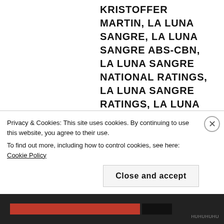KRISTOFFER MARTIN, LA LUNA SANGRE, LA LUNA SANGRE ABS-CBN, LA LUNA SANGRE NATIONAL RATINGS, LA LUNA SANGRE RATINGS, LA LUNA SANGRE VS. ALYAS ROBIN HOOD, LA MADRIDEJOS, LITTLE NANAY, LITTLE NANAY GMA, MARIAN RIVERA, MARIKA SASAKI, MARIMAR, MARIMAR 2015, MARIMAR 2015 GMA, MARIMAR 2015 REMAKE, MARIMAR GMA, MATTHIAS RHOADS, MEG IMPERIAL, MULAWIN VS. RAVENA, MULAWIN VS. RAVENA CHANGE OF TIMESLOT, MULAWIN VS. RAVENA GMA, MULAWIN VS. RAVENA NEW TIMESLOT, MULAWIN VS. RAVENA VS. LA LUNA SANGRE,
Privacy & Cookies: This site uses cookies. By continuing to use this website, you agree to their use.
To find out more, including how to control cookies, see here: Cookie Policy